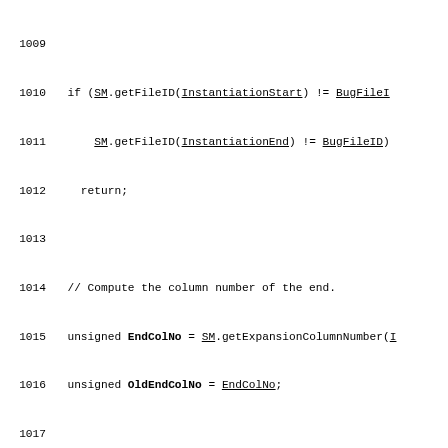[Figure (screenshot): Source code listing in C++ showing lines 1009-1038, with line numbers on the left. Code includes conditionals, variable declarations, comments, and function calls with underlined identifiers. Some identifiers are bold. White background with black monospace text.]